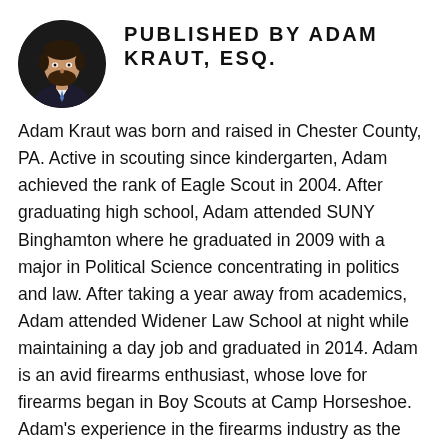[Figure (photo): Circular headshot photo of Adam Kraut, a man in a suit with a beard, on dark background]
PUBLISHED BY ADAM KRAUT, ESQ.
Adam Kraut was born and raised in Chester County, PA. Active in scouting since kindergarten, Adam achieved the rank of Eagle Scout in 2004. After graduating high school, Adam attended SUNY Binghamton where he graduated in 2009 with a major in Political Science concentrating in politics and law. After taking a year away from academics, Adam attended Widener Law School at night while maintaining a day job and graduated in 2014. Adam is an avid firearms enthusiast, whose love for firearms began in Boy Scouts at Camp Horseshoe. Adam's experience in the firearms industry as the general manager of a Federal Firearms Licensee, who is a